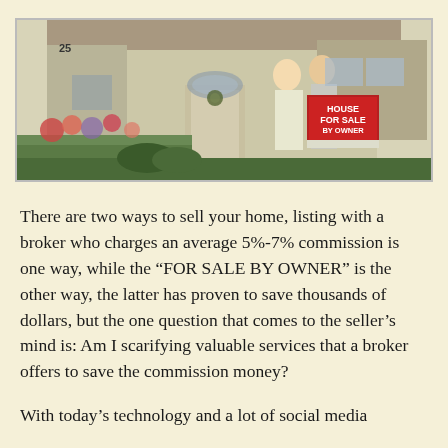[Figure (photo): Two women standing in front of a house for sale, holding a red 'HOUSE FOR SALE BY OWNER' sign, with flowers and greenery in the foreground.]
There are two ways to sell your home, listing with a broker who charges an average 5%-7% commission is one way, while the “FOR SALE BY OWNER” is the other way, the latter has proven to save thousands of dollars, but the one question that comes to the seller’s mind is: Am I scarifying valuable services that a broker offers to save the commission money?
With today’s technology and a lot of social media